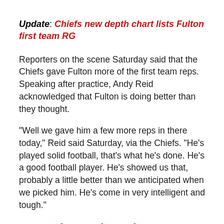Update: Chiefs new depth chart lists Fulton first team RG
Reporters on the scene Saturday said that the Chiefs gave Fulton more of the first team reps. Speaking after practice, Andy Reid acknowledged that Fulton is doing better than they thought.
"Well we gave him a few more reps in there today," Reid said Saturday, via the Chiefs. "He's played solid football, that's what he's done. He's a good football player. He's showed us that, probably a little better than we anticipated when we picked him. He's come in very intelligent and tough."
He's showed us that, probably a little better than we anticipated when we picked him. -